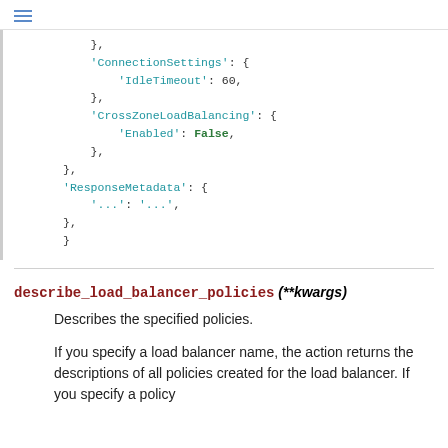≡
[Figure (screenshot): Code block showing JSON-like Python dictionary with ConnectionSettings IdleTimeout 60, CrossZoneLoadBalancing Enabled False, ResponseMetadata with ellipsis, closing braces]
describe_load_balancer_policies (**kwargs)
Describes the specified policies.
If you specify a load balancer name, the action returns the descriptions of all policies created for the load balancer. If you specify a policy